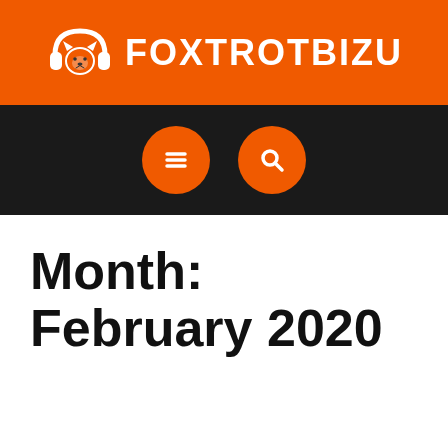[Figure (logo): FoxtrotBizu website header banner with orange background, fox logo icon and site name FOXTROTBIZU in white bold text]
[Figure (infographic): Dark navigation bar with two orange circular buttons: a hamburger menu icon and a search/magnifying glass icon]
Month: February 2020